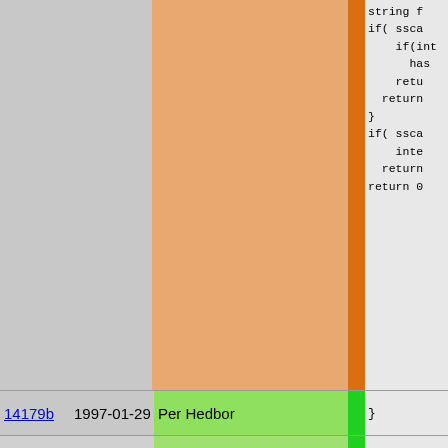[Figure (screenshot): Git blame view of source code showing commit hashes, dates, authors, and code content. Top section shows large orange/tan block for Per Hedbor commits with C code on right. Below are rows for various commits by Per Hedbor, Martin Stjernholm, and Henrik Grubbström (Grubba).]
| Hash | Date | Author | Code |
| --- | --- | --- | --- |
| 14179b | 1997-01-29 | Per Hedbor | } |
| 03aa49 | 2000-08-23 | Per Hedbor | array regi |
| 7a243b | 2000-08-19 | Per Hedbor | array do_n |
| 14179b | 1997-01-29 | Per Hedbor | void start
{ |
| c109fc | 2001-07-21 | Martin Stjernholm | fix_my_u |
| 55c052 | 2001-11-07 | Henrik Grubbström (Grubba) | #if 0
  report_d |
| 9c3c6c | 2001-11-09 | Henrik Grubbström (Grubba) |  |
| 55c052 | 2001-11-07 | Henrik Grubbström (Grubba) |  |